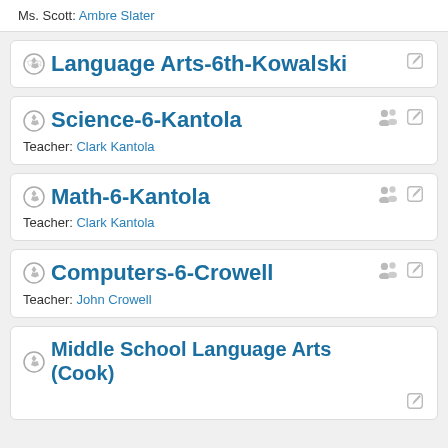Ms. Scott: Ambre Slater
Language Arts-6th-Kowalski
Science-6-Kantola
Teacher: Clark Kantola
Math-6-Kantola
Teacher: Clark Kantola
Computers-6-Crowell
Teacher: John Crowell
Middle School Language Arts (Cook)